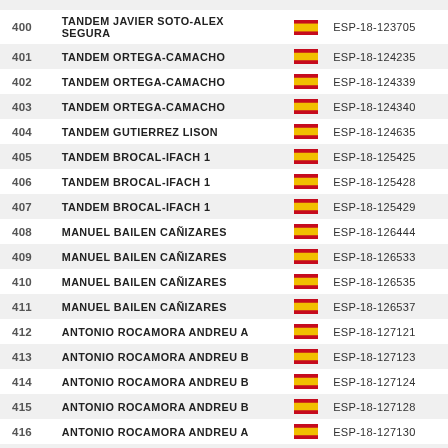| # | Name | Flag | Code |
| --- | --- | --- | --- |
| 400 | TANDEM JAVIER SOTO-ALEX SEGURA | ESP | ESP-18-123705 |
| 401 | TANDEM ORTEGA-CAMACHO | ESP | ESP-18-124235 |
| 402 | TANDEM ORTEGA-CAMACHO | ESP | ESP-18-124339 |
| 403 | TANDEM ORTEGA-CAMACHO | ESP | ESP-18-124340 |
| 404 | TANDEM GUTIERREZ LISON | ESP | ESP-18-124635 |
| 405 | TANDEM BROCAL-IFACH 1 | ESP | ESP-18-125425 |
| 406 | TANDEM BROCAL-IFACH 1 | ESP | ESP-18-125428 |
| 407 | TANDEM BROCAL-IFACH 1 | ESP | ESP-18-125429 |
| 408 | MANUEL BAILEN CAÑIZARES | ESP | ESP-18-126444 |
| 409 | MANUEL BAILEN CAÑIZARES | ESP | ESP-18-126533 |
| 410 | MANUEL BAILEN CAÑIZARES | ESP | ESP-18-126535 |
| 411 | MANUEL BAILEN CAÑIZARES | ESP | ESP-18-126537 |
| 412 | ANTONIO ROCAMORA ANDREU A | ESP | ESP-18-127121 |
| 413 | ANTONIO ROCAMORA ANDREU B | ESP | ESP-18-127123 |
| 414 | ANTONIO ROCAMORA ANDREU B | ESP | ESP-18-127124 |
| 415 | ANTONIO ROCAMORA ANDREU B | ESP | ESP-18-127128 |
| 416 | ANTONIO ROCAMORA ANDREU A | ESP | ESP-18-127130 |
| 417 | ANTONIO ROCAMORA ANDREU A | ESP | ESP-18-127235 |